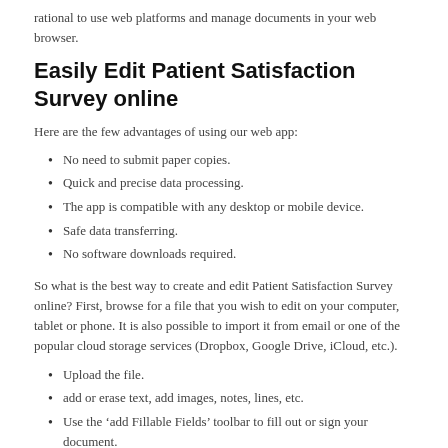rational to use web platforms and manage documents in your web browser.
Easily Edit Patient Satisfaction Survey online
Here are the few advantages of using our web app:
No need to submit paper copies.
Quick and precise data processing.
The app is compatible with any desktop or mobile device.
Safe data transferring.
No software downloads required.
So what is the best way to create and edit Patient Satisfaction Survey online? First, browse for a file that you wish to edit on your computer, tablet or phone. It is also possible to import it from email or one of the popular cloud storage services (Dropbox, Google Drive, iCloud, etc.).
Upload the file.
add or erase text, add images, notes, lines, etc.
Use the ‘add Fillable Fields’ toolbar to fill out or sign your document.
Drag added objects, adjust their size, alignment and attributes.
Click ‘Save’ to apply the changes.